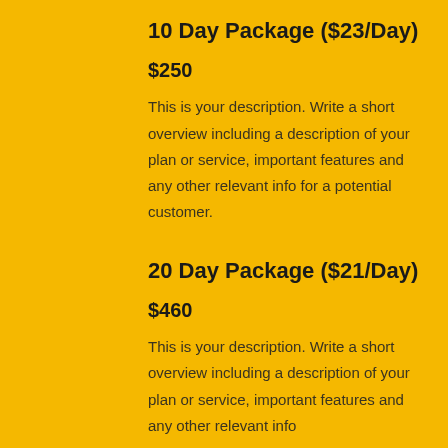10 Day Package ($23/Day)
$250
This is your description. Write a short overview including a description of your plan or service, important features and any other relevant info for a potential customer.
20 Day Package ($21/Day)
$460
This is your description. Write a short overview including a description of your plan or service, important features and any other relevant info